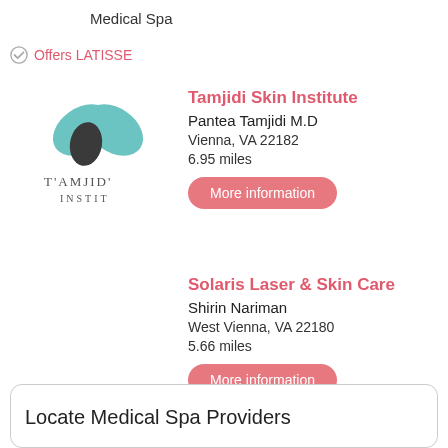Medical Spa
Offers LATISSE
[Figure (logo): Tamjidi Skin Institute logo with teal leaf shapes and dark teardrop, text reads TAMJID INSTIT]
Tamjidi Skin Institute
Pantea Tamjidi M.D
Vienna, VA 22182
6.95 miles
More information
Solaris Laser & Skin Care
Shirin Nariman
West Vienna, VA 22180
5.66 miles
More information
Locate Medical Spa Providers